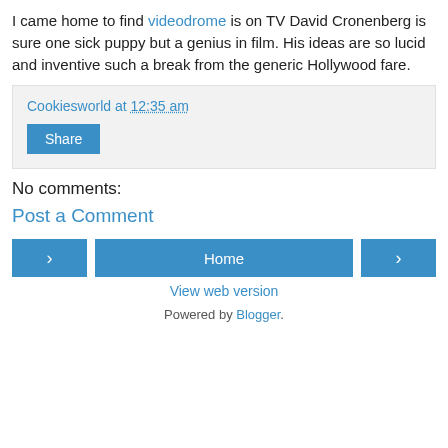I came home to find videodrome is on TV David Cronenberg is sure one sick puppy but a genius in film. His ideas are so lucid and inventive such a break from the generic Hollywood fare.
Cookiesworld at 12:35 am
Share
No comments:
Post a Comment
< Home >
View web version
Powered by Blogger.